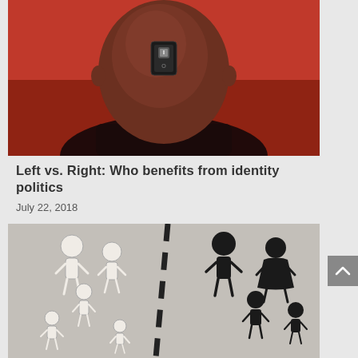[Figure (illustration): A stylized illustration of the back of a bald man's head against a vivid red background. A black on/off toggle switch is mounted on the back of his skull, with '1' at top and '0' at bottom, suggesting mind control or binary thinking.]
Left vs. Right: Who benefits from identity politics
July 22, 2018
[Figure (illustration): A black and white illustration showing stylized human figures (white figures on the left, black figures on the right) separated by a dashed diagonal line, representing racial or social division/segregation.]